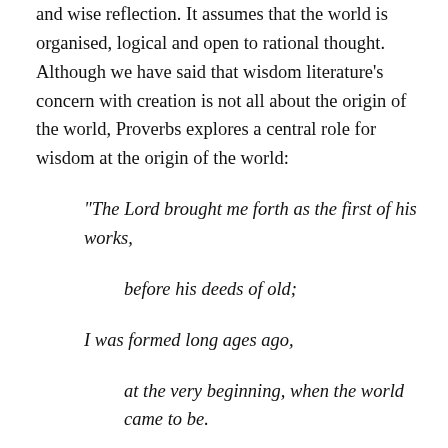and wise reflection. It assumes that the world is organised, logical and open to rational thought. Although we have said that wisdom literature’s concern with creation is not all about the origin of the world, Proverbs explores a central role for wisdom at the origin of the world:
“The Lord brought me forth as the first of his works,

    before his deeds of old;

I was formed long ages ago,

    at the very beginning, when the world came to be.